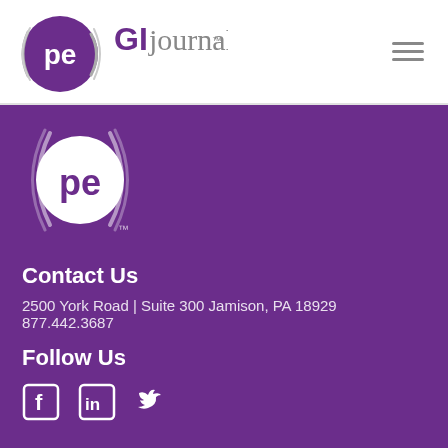[Figure (logo): PE GI Journal logo with purple circle containing 'pe' text and swoosh, followed by 'GI journal' text in purple and gray]
[Figure (logo): Hamburger menu icon with three horizontal lines]
[Figure (logo): PE logo white on purple background in footer]
Contact Us
2500 York Road | Suite 300 Jamison, PA 18929 877.442.3687
Follow Us
[Figure (other): Social media icons: Facebook, LinkedIn, Twitter]